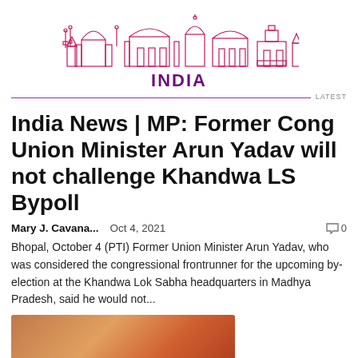[Figure (illustration): Pink/purple outline skyline illustration of Indian monuments and buildings]
INDIA
LATEST
India News | MP: Former Cong Union Minister Arun Yadav will not challenge Khandwa LS Bypoll
Mary J. Cavana...   Oct 4, 2021   0
Bhopal, October 4 (PTI) Former Union Minister Arun Yadav, who was considered the congressional frontrunner for the upcoming by-election at the Khandwa Lok Sabha headquarters in Madhya Pradesh, said he would not...
[Figure (photo): Partial thumbnail photo at bottom of page, showing orange/red tones]